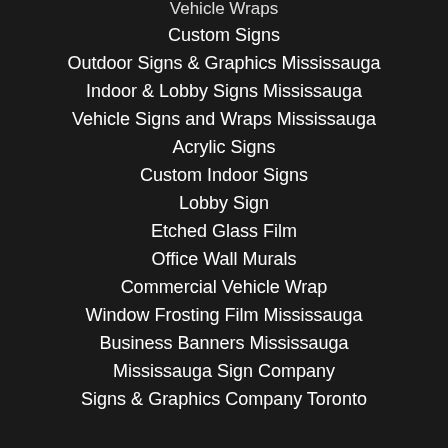Vehicle Wraps
Custom Signs
Outdoor Signs & Graphics Mississauga
Indoor & Lobby Signs Mississauga
Vehicle Signs and Wraps Mississauga
Acrylic Signs
Custom Indoor Signs
Lobby Sign
Etched Glass Film
Office Wall Murals
Commercial Vehicle Wrap
Window Frosting Film Mississauga
Business Banners Mississauga
Mississauga Sign Company
Signs & Graphics Company Toronto